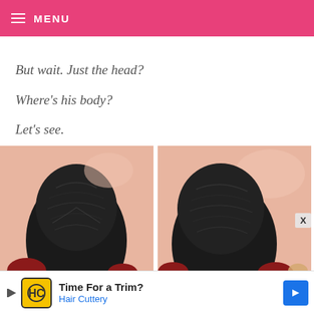MENU
But wait. Just the head?
Where's his body?
Let's see.
[Figure (photo): Two side-by-side close-up photos of a dark textured object (appears to be a toy or figure head) against a light peach/skin-toned background with red elements visible at the bottom.]
Time For a Trim? Hair Cuttery